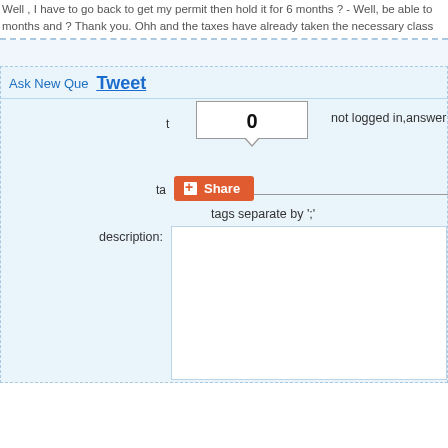Well , I have to go back to get my permit then hold it for 6 months ? - Well, be able to months and ? Thank you. Ohh and the taxes have already taken the necessary class
Ask New Que
Tweet
not logged in,answer will be Anonymous.
Set N
0
t
ta
Share
tags separate by ';'
description: